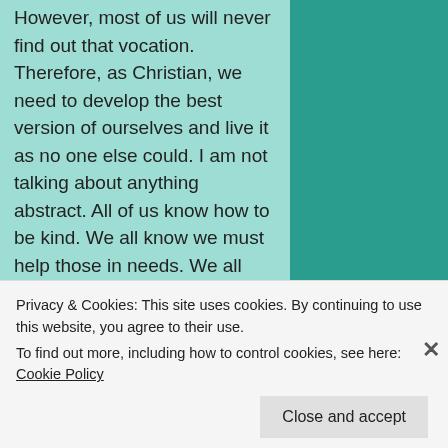However, most of us will never find out that vocation. Therefore, as Christian, we need to develop the best version of ourselves and live it as no one else could. I am not talking about anything abstract. All of us know how to be kind. We all know we must help those in needs. We all know that we can love more. The question is: are we doing with all our heart, mind, strength, will, and intellect? I am asking that we do these in ways that reflect the best version of who we are. Action follows upon being. What we do reflects who we are. Who we are is not mediocrity. We are made for greatness. We cannot simply help. We must be the greatest helper we can possibly be. We
Privacy & Cookies: This site uses cookies. By continuing to use this website, you agree to their use.
To find out more, including how to control cookies, see here: Cookie Policy
Close and accept